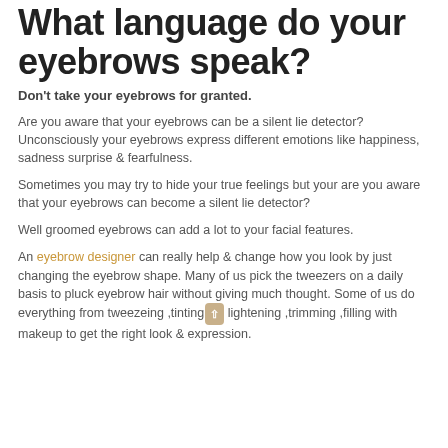What language do your eyebrows speak?
Don't take your eyebrows for granted.
Are you aware that your eyebrows can be a silent lie detector? Unconsciously your eyebrows express different emotions like happiness, sadness surprise & fearfulness.
Sometimes you may try to hide your true feelings but your are you aware that your eyebrows can become a silent lie detector?
Well groomed eyebrows can add a lot to your facial features.
An eyebrow designer can really help & change how you look by just changing the eyebrow shape. Many of us pick the tweezers on a daily basis to pluck eyebrow hair without giving much thought. Some of us do everything from tweezeing ,tinting lightening ,trimming ,filling with makeup to get the right look & expression.